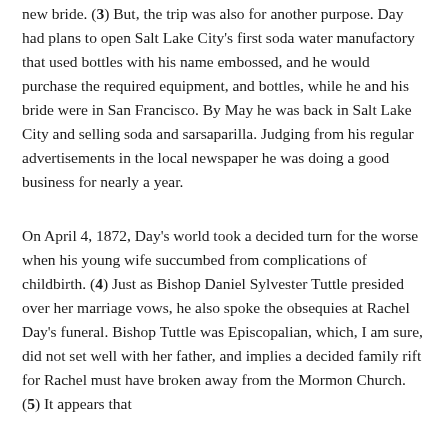new bride. (3)  But, the trip was also for another purpose.  Day had plans to open Salt Lake City's first soda water manufactory that used bottles with his name embossed, and he would purchase the required equipment, and bottles, while he and his bride were in San Francisco.  By May he was back in Salt Lake City and selling soda and sarsaparilla.  Judging from his regular advertisements in the local newspaper he was doing a good business for nearly a year.
On April 4, 1872, Day's world took a decided turn for the worse when his young wife succumbed from complications of childbirth. (4) Just as Bishop Daniel Sylvester Tuttle presided over her marriage vows, he also spoke the obsequies at Rachel Day's funeral.  Bishop Tuttle was Episcopalian, which, I am sure, did not set well with her father, and implies a decided family rift for Rachel must have broken away from the Mormon Church. (5)  It appears that